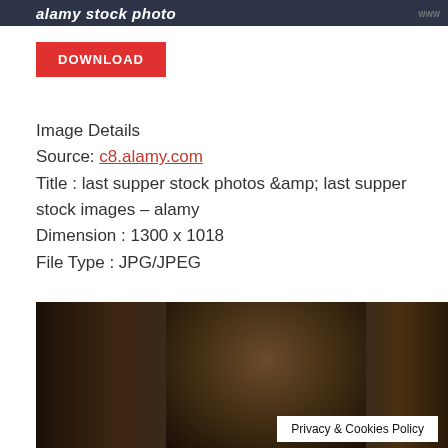alamy stock photo  www
DOWNLOAD
Image Details
Source: c8.alamy.com
Title : last supper stock photos &amp;amp; last supper stock images – alamy
Dimension : 1300 x 1018
File Type : JPG/JPEG
[Figure (photo): Dark cinematic scene showing two figures in medieval/biblical costume in a dimly lit stone interior, resembling the Last Supper scene.]
Privacy & Cookies Policy